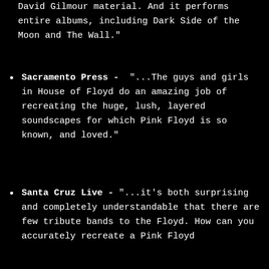David Gilmour material. And it performs entire albums, including Dark Side of the Moon and The Wall."
Sacramento Press -  "...The guys and girls in House of Floyd do an amazing job of recreating the huge, lush, layered soundscapes for which Pink Floyd is so known, and loved."
Santa Cruz Live - "...it's both surprising and completely understandable that there are few tribute bands to the Floyd. How can you accurately recreate a Pink Floyd